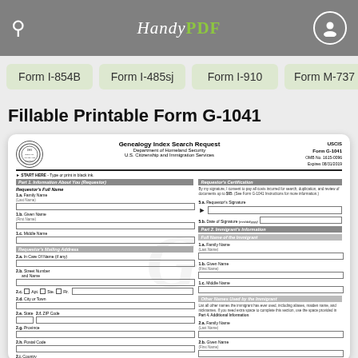HandyPDF
Form I-854B
Form I-485sj
Form I-910
Form M-737
Fillable Printable Form G-1041
[Figure (screenshot): Preview of USCIS Form G-1041 Genealogy Index Search Request showing fillable fields for Requestor's Full Name, Mailing Address, Contact Information, Requestor's Certification with signature field, and Immigrant's Information section including Full Name and Other Names Used by the Immigrant.]